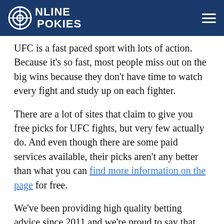Online Pokies
UFC is a fast paced sport with lots of action. Because it's so fast, most people miss out on the big wins because they don't have time to watch every fight and study up on each fighter.
There are a lot of sites that claim to give you free picks for UFC fights, but very few actually do. And even though there are some paid services available, their picks aren't any better than what you can find more information on the page for free.
We've been providing high quality betting advice since 2011 and we're proud to say that we're one of the best in the industry! Our team will provide you with winning tips and analysis before every major fight card event. You'll get access to our premium content including [continues]